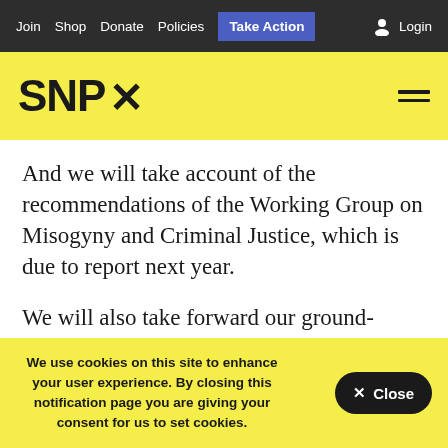Join  Shop  Donate  Policies  Take Action  Login
[Figure (logo): SNP logo with thistle symbol on yellow background]
And we will take account of the recommendations of the Working Group on Misogyny and Criminal Justice, which is due to report next year.
We will also take forward our ground-breaking Women's Health Plan
We use cookies on this site to enhance your user experience. By closing this notification page you are giving your consent for us to set cookies.